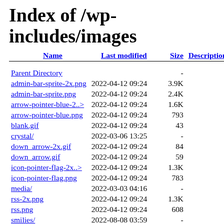Index of /wp-includes/images
| Name | Last modified | Size | Description |
| --- | --- | --- | --- |
| Parent Directory |  | - |  |
| admin-bar-sprite-2x.png | 2022-04-12 09:24 | 3.9K |  |
| admin-bar-sprite.png | 2022-04-12 09:24 | 2.4K |  |
| arrow-pointer-blue-2..> | 2022-04-12 09:24 | 1.6K |  |
| arrow-pointer-blue.png | 2022-04-12 09:24 | 793 |  |
| blank.gif | 2022-04-12 09:24 | 43 |  |
| crystal/ | 2022-03-06 13:25 | - |  |
| down_arrow-2x.gif | 2022-04-12 09:24 | 84 |  |
| down_arrow.gif | 2022-04-12 09:24 | 59 |  |
| icon-pointer-flag-2x..> | 2022-04-12 09:24 | 1.3K |  |
| icon-pointer-flag.png | 2022-04-12 09:24 | 783 |  |
| media/ | 2022-03-03 04:16 | - |  |
| rss-2x.png | 2022-04-12 09:24 | 1.3K |  |
| rss.png | 2022-04-12 09:24 | 608 |  |
| smilies/ | 2022-08-08 03:59 | - |  |
| ... | 2022-04-12 09:24 | 7.4K |  |